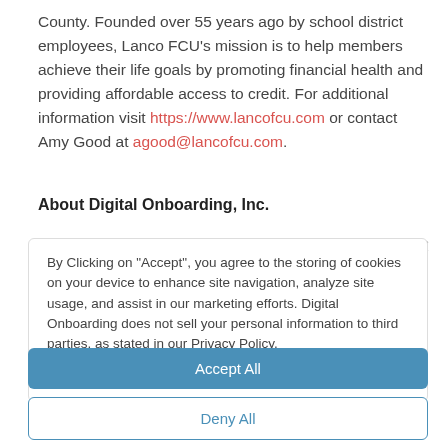County. Founded over 55 years ago by school district employees, Lanco FCU's mission is to help members achieve their life goals by promoting financial health and providing affordable access to credit. For additional information visit https://www.lancofcu.com or contact Amy Good at agood@lancofcu.com.
About Digital Onboarding, Inc.
By Clicking on "Accept", you agree to the storing of cookies on your device to enhance site navigation, analyze site usage, and assist in our marketing efforts. Digital Onboarding does not sell your personal information to third parties, as stated in our Privacy Policy. https://www.digitalonboarding.com/privacy-policy
Accept All
Deny All